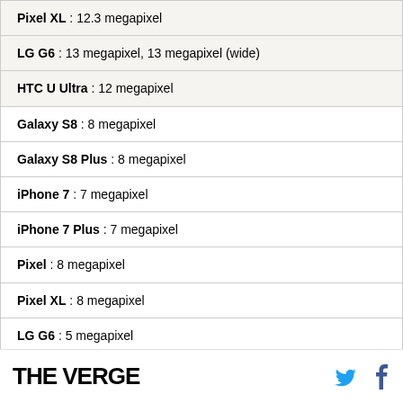| Pixel XL : 12.3 megapixel |
| LG G6 : 13 megapixel, 13 megapixel (wide) |
| HTC U Ultra : 12 megapixel |
| Galaxy S8 : 8 megapixel |
| Galaxy S8 Plus : 8 megapixel |
| iPhone 7 : 7 megapixel |
| iPhone 7 Plus : 7 megapixel |
| Pixel : 8 megapixel |
| Pixel XL : 8 megapixel |
| LG G6 : 5 megapixel |
| HTC U Ultra : 16 megapixel |
THE VERGE